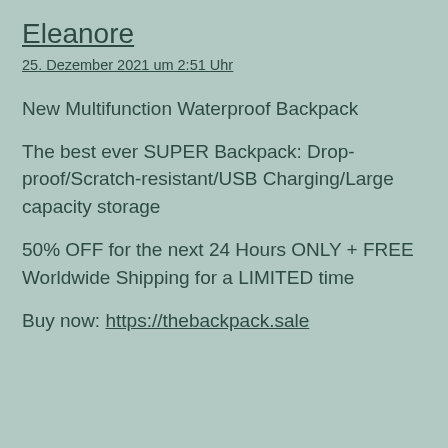Eleanore
25. Dezember 2021 um 2:51 Uhr
New Multifunction Waterproof Backpack
The best ever SUPER Backpack: Drop-proof/Scratch-resistant/USB Charging/Large capacity storage
50% OFF for the next 24 Hours ONLY + FREE Worldwide Shipping for a LIMITED time
Buy now: https://thebackpack.sale